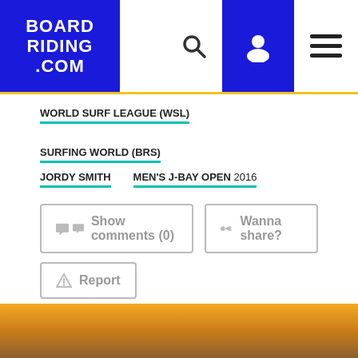BOARDRIDING.COM
WORLD SURF LEAGUE (WSL)
SURFING WORLD (BRS)
JORDY SMITH
MEN'S J-BAY OPEN 2016
Show comments (0)
Wanna share?
Report
World Surf League (WSL)
[Figure (photo): Bottom of page showing a sandy/golden colored surface, possibly a surfboard or beach sand]